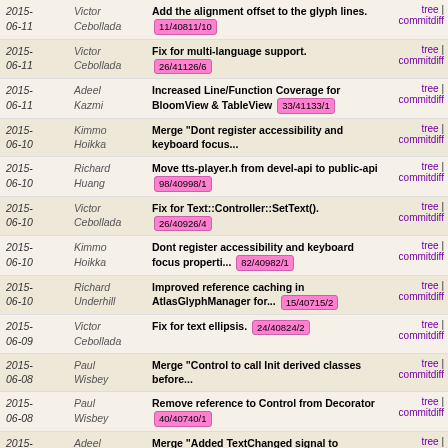| Date | Author | Message | Links |
| --- | --- | --- | --- |
| 2015-06-11 | Victor Cebollada | Add the alignment offset to the glyph lines. 11/40811/10 | tree | commitdiff |
| 2015-06-11 | Victor Cebollada | Fix for multi-language support. 26/41126/6 | tree | commitdiff |
| 2015-06-11 | Adeel Kazmi | Increased Line/Function Coverage for BloomView & TableView 33/41133/1 | tree | commitdiff |
| 2015-06-10 | Kimmo Hoikka | Merge "Dont register accessibility and keyboard focus... | tree | commitdiff |
| 2015-06-10 | Richard Huang | Move tts-player.h from devel-api to public-api 98/40998/1 | tree | commitdiff |
| 2015-06-10 | Victor Cebollada | Fix for Text::Controller::SetText(). 26/40926/4 | tree | commitdiff |
| 2015-06-10 | Kimmo Hoikka | Dont register accessibility and keyboard focus properti... 82/40982/1 | tree | commitdiff |
| 2015-06-10 | Richard Underhill | Improved reference caching in AtlasGlyphManager for... 15/40715/2 | tree | commitdiff |
| 2015-06-09 | Victor Cebollada | Fix for text ellipsis. 24/40824/2 | tree | commitdiff |
| 2015-06-08 | Paul Wisbey | Merge "Control to call Init derived classes before... | tree | commitdiff |
| 2015-06-08 | Paul Wisbey | Remove reference to Control from Decorator 40/40740/1 | tree | commitdiff |
| 2015-06-04 | Adeel Kazmi | Merge "Added TextChanged signal to TextField" into... accepted/tizen_3.0.2015.q2_common | tree | commitdiff |